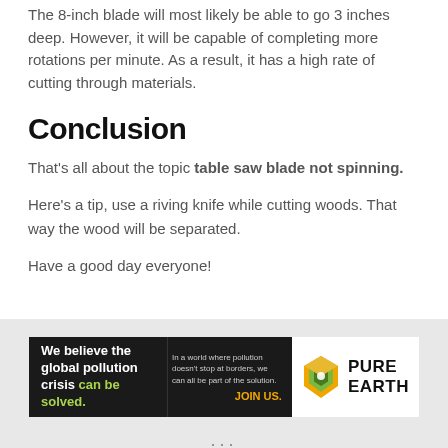The 8-inch blade will most likely be able to go 3 inches deep. However, it will be capable of completing more rotations per minute. As a result, it has a high rate of cutting through materials.
Conclusion
That’s all about the topic table saw blade not spinning.
Here’s a tip, use a riving knife while cutting woods. That way the wood will be separated.
Have a good day everyone!
[Figure (infographic): Pure Earth advertisement banner: black background left panel with text 'We believe the global pollution crisis can be solved.' with 'can be solved.' in green. Middle panel with small text and 'JOIN US.' in orange. Right panel with Pure Earth diamond logo and 'PURE EARTH' text.]